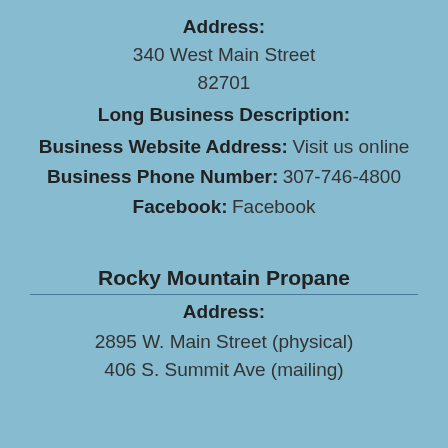Address:
340 West Main Street
82701
Long Business Description:
Business Website Address: Visit us online
Business Phone Number: 307-746-4800
Facebook: Facebook
Rocky Mountain Propane
Address:
2895 W. Main Street (physical)
406 S. Summit Ave (mailing)